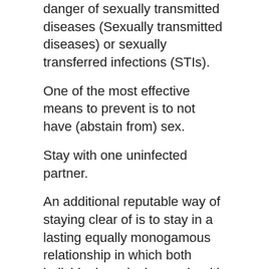danger of sexually transmitted diseases (Sexually transmitted diseases) or sexually transferred infections (STIs).
One of the most effective means to prevent is to not have (abstain from) sex.
Stay with one uninfected partner.
An additional reputable way of staying clear of is to stay in a lasting equally monogamous relationship in which both individuals make love only with each other and neither companion is infected.
Prevent genital and also anal sexual intercourse with brand-new partners until you have both been tested for. Oral sex is much less risky, yet